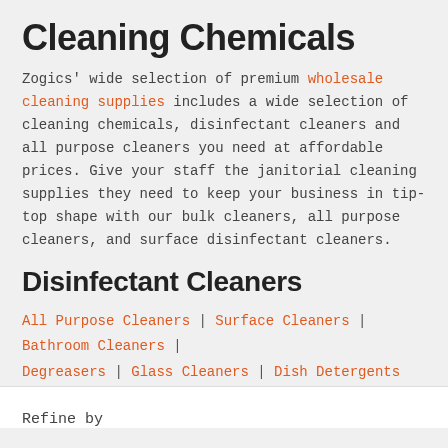Cleaning Chemicals
Zogics' wide selection of premium wholesale cleaning supplies includes a wide selection of cleaning chemicals, disinfectant cleaners and all purpose cleaners you need at affordable prices. Give your staff the janitorial cleaning supplies they need to keep your business in tip-top shape with our bulk cleaners, all purpose cleaners, and surface disinfectant cleaners.
Disinfectant Cleaners
All Purpose Cleaners | Surface Cleaners | Bathroom Cleaners | Degreasers | Glass Cleaners | Dish Detergents
Refine by